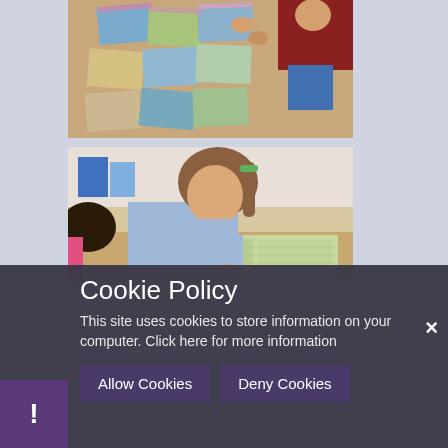[Figure (photo): Children sorting picture cards on a classroom table, viewed from above. Cards show various landscape/nature scenes with colorful striped borders.]
[Figure (photo): A young girl with a ponytail wearing a light blue school uniform looks down at a map book on a classroom desk.]
Cookie Policy
This site uses cookies to store information on your computer. Click here for more information
Allow Cookies
Deny Cookies